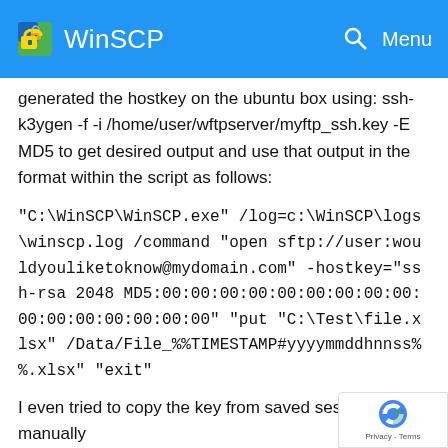WinSCP
generated the hostkey on the ubuntu box using: ssh-k3ygen -f -i /home/user/wftpserver/myftp_ssh.key -E MD5 to get desired output and use that output in the format within the script as follows:
"C:\WinSCP\WinSCP.exe" /log=c:\WinSCP\logs\winscp.log /command "open sftp://user:wouldyouliketoknow@mydomain.com" -hostkey="ssh-rsa 2048 MD5:00:00:00:00:00:00:00:00:00:00:00:00:00:00:00:00" "put "C:\Test\file.xlsx" /Data/File_%%TIMESTAMP#yyyymmddhnnss%%.xlsx" "exit"
I even tried to copy the key from saved session I manually